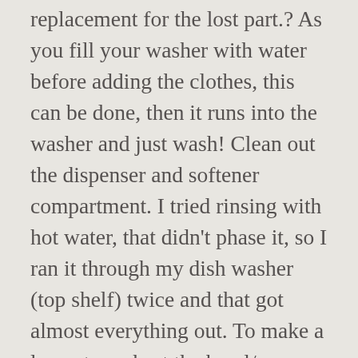replacement for the lost part.? As you fill your washer with water before adding the clothes, this can be done, then it runs into the washer and just wash! Clean out the dispenser and softener compartment. I tried rinsing with hot water, that didn't phase it, so I ran it through my dish washer (top shelf) twice and that got almost everything out. To make a long story short the bowl/cup that's removable had about 1/8th of a inch of softener buildup, along with the bottom of the agitator tower. Remove the cabinet by tilting it forward and pulling it away from the washer. I know it would be nice not to have to hassle with it, but the built-in dispensers do seem to get gunky pretty quickly. Then I took a toothbrush to it. The